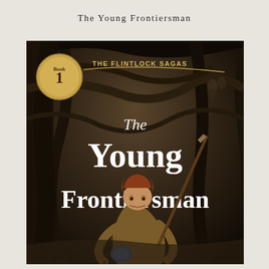The Young Frontiersman
[Figure (illustration): Book cover of 'The Young Frontiersman', Book 1 of The Flintlock Sagas. Dark illustrated cover showing a young boy in frontier buckskin clothes crouching and holding a rifle, in a dark forest setting. Background shows shadowy trees and figures. Bold white text reads 'The Young Frontiersman' with italic 'The' above. A circular badge in upper left reads 'Book 1' with 'THE FLINTLOCK SAGAS' text beside it.]